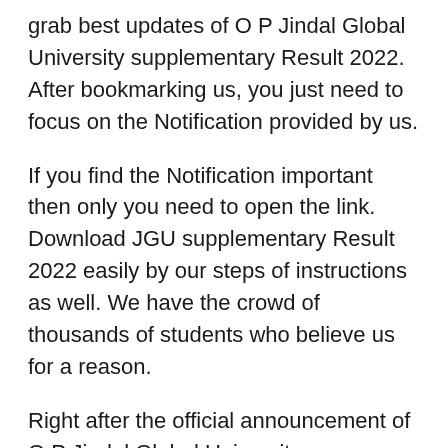grab best updates of O P Jindal Global University supplementary Result 2022. After bookmarking us, you just need to focus on the Notification provided by us.
If you find the Notification important then only you need to open the link. Download JGU supplementary Result 2022 easily by our steps of instructions as well. We have the crowd of thousands of students who believe us for a reason.
Right after the official announcement of O P Jindal Global University supplementary Result 2022, we will share the link with you. Don’t forget your Enrolment Numbers and Date of Birth while downloading JGU supplementary Score cards 2022.